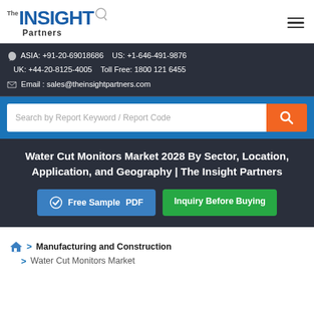The INSIGHT Partners
ASIA: +91-20-69018686  US: +1-646-491-9876  UK: +44-20-8125-4005  Toll Free: 1800 121 6455  Email: sales@theinsightpartners.com
Search by Report Keyword / Report Code
Water Cut Monitors Market 2028 By Sector, Location, Application, and Geography | The Insight Partners
Free Sample PDF  Inquiry Before Buying
> Manufacturing and Construction
> Water Cut Monitors Market